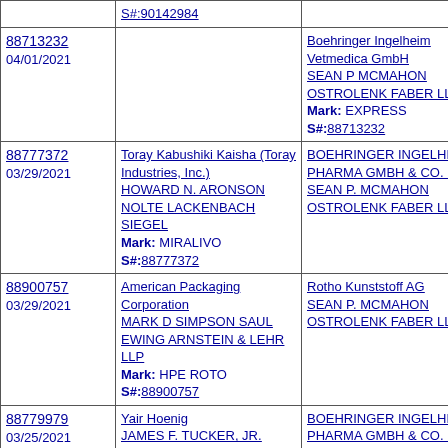| Serial/Date | Applicant/Attorney/Mark | Registrant/Attorney |
| --- | --- | --- |
| S#:90142984 |  |  |
| 88713232
04/01/2021 |  | Boehringer Ingelheim Vetmedica GmbH
SEAN P MCMAHON
OSTROLENK FABER LLP
Mark: EXPRESS
S#:88713232 |
| 88777372
03/29/2021 | Toray Kabushiki Kaisha (Toray Industries, Inc.)
HOWARD N. ARONSON
NOLTE LACKENBACH SIEGEL
Mark: MIRALIVO
S#:88777372 | BOEHRINGER INGELHEIM PHARMA GMBH & CO. KG
SEAN P. MCMAHON
OSTROLENK FABER LLP |
| 88900757
03/29/2021 | American Packaging Corporation
MARK D SIMPSON SAUL EWING ARNSTEIN & LEHR LLP
Mark: HPE ROTO
S#:88900757 | Rotho Kunststoff AG
SEAN P. MCMAHON
OSTROLENK FABER LLP |
| 88779979
03/25/2021 | Yair Hoenig
JAMES F. TUCKER, JR.
Mark: SPIREA S#:88779979 | BOEHRINGER INGELHEIM PHARMA GMBH & CO. KG
SEAN P. MCMAHON
OSTROLENK FABER LLP |
| 79272512
02/04/2021 |  | MAPAL Fabrik für Präzisionswerkzeuge Dr. Kress KG
SEAN P. MCMAHON |